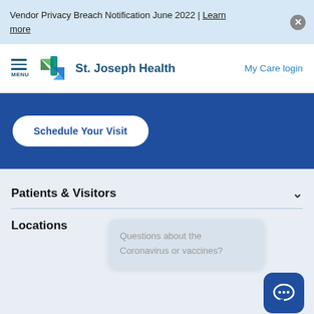Vendor Privacy Breach Notification June 2022 | Learn more
[Figure (logo): St. Joseph Health logo with cross/arrow icon and text 'St. Joseph Health']
My Care login
Schedule Your Visit
Patients & Visitors
Locations
Questions about the Coronavirus or vaccines?